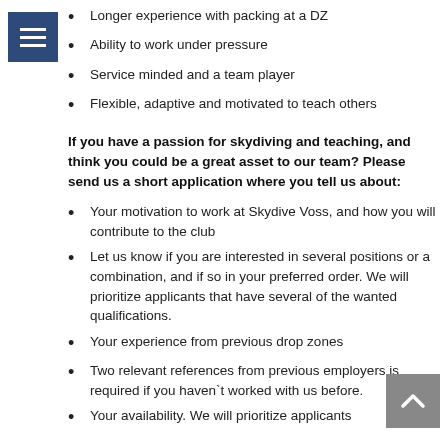Longer experience with packing at a DZ
Ability to work under pressure
Service minded and a team player
Flexible, adaptive and motivated to teach others
If you have a passion for skydiving and teaching, and think you could be a great asset to our team? Please send us a short application where you tell us about:
Your motivation to work at Skydive Voss, and how you will contribute to the club
Let us know if you are interested in several positions or a combination, and if so in your preferred order. We will prioritize applicants that have several of the wanted qualifications.
Your experience from previous drop zones
Two relevant references from previous employers is required if you haven`t worked with us before.
Your availability. We will prioritize applicants